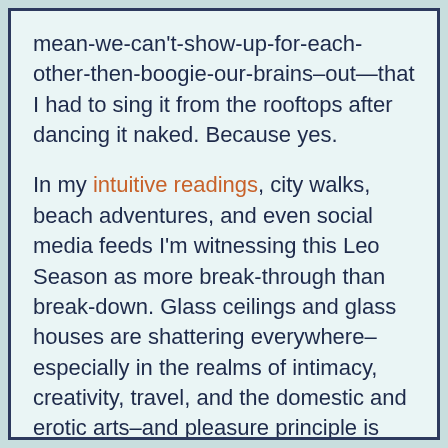mean-we-can't-show-up-for-each-other-then-boogie-our-brains–out—that I had to sing it from the rooftops after dancing it naked. Because yes.
In my intuitive readings, city walks, beach adventures, and even social media feeds I'm witnessing this Leo Season as more break-through than break-down. Glass ceilings and glass houses are shattering everywhere–especially in the realms of intimacy, creativity, travel, and the domestic and erotic arts–and pleasure principle is riding principal with a sexy school-marm